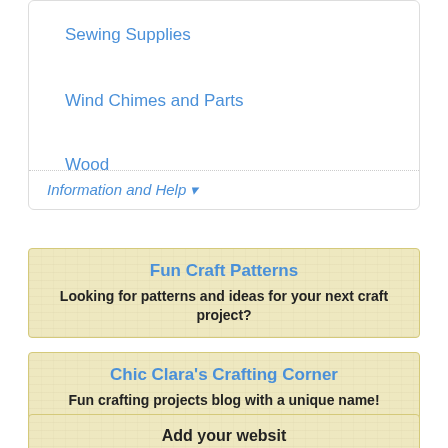Sewing Supplies
Wind Chimes and Parts
Wood
Information and Help ▾
Fun Craft Patterns
Looking for patterns and ideas for your next craft project?
Chic Clara's Crafting Corner
Fun crafting projects blog with a unique name!
Add your websit…
Add a permanent link to your cra…